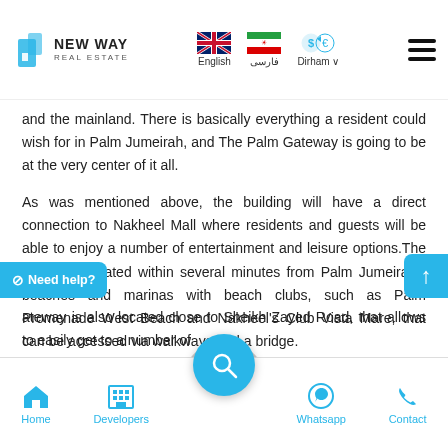New Way Real Estate — English | فارسی | Dirham
and the mainland. There is basically everything a resident could wish for in Palm Jumeirah, and The Palm Gateway is going to be at the very center of it all.
As was mentioned above, the building will have a direct connection to Nakheel Mall where residents and guests will be able to enjoy a number of entertainment and leisure options.The project is located within several minutes from Palm Jumeirah's beaches and marinas with beach clubs, such as Palm Promenade West Beach and Nakheel's Club Vista Mare, that can be accessed via walkways and a bridge.
...ateway is also located close to Sheikh Zayed Road, that allows to easily get to a number of
Home | Developers | Whatsapp | Contact